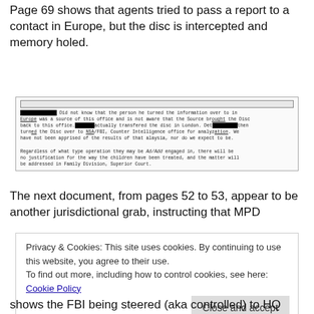Page 69 shows that agents tried to pass a report to a contact in Europe, but the disc is intercepted and memory holed.
[Figure (screenshot): Scanned government document with redacted names. Text reads: Did not know that the person he turned the information over to in Europe was a source of this office and is not aware that the Source brought the Disc back to this office. [REDACTED] actually transfered the disc in London. Det [REDACTED] then turned the Disc over to NSA/FBI, Counter Intelligence office for analyzation. We have not been apprised of the results of that alaysia, nor do we expect to be. Regardless of what type operation they may be Ad/Add engaged in, there will be no justification for the way the children have been treated, and the matter will be addressed in Family Division, Superior Court.]
The next document, from pages 52 to 53, appear to be another jurisdictional grab, instructing that MPD
Privacy & Cookies: This site uses cookies. By continuing to use this website, you agree to their use.
To find out more, including how to control cookies, see here: Cookie Policy
Close and accept
shows the FBI being steered (aka controlled) to HQ